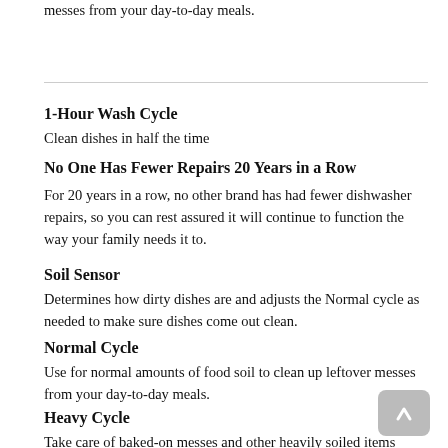messes from your day-to-day meals.
1-Hour Wash Cycle
Clean dishes in half the time
No One Has Fewer Repairs 20 Years in a Row
For 20 years in a row, no other brand has had fewer dishwasher repairs, so you can rest assured it will continue to function the way your family needs it to.
Soil Sensor
Determines how dirty dishes are and adjusts the Normal cycle as needed to make sure dishes come out clean.
Normal Cycle
Use for normal amounts of food soil to clean up leftover messes from your day-to-day meals.
Heavy Cycle
Take care of baked-on messes and other heavily soiled items